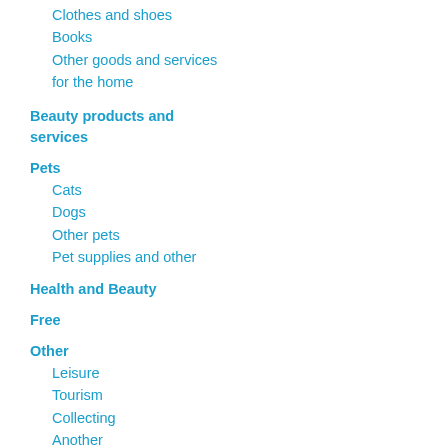Clothes and shoes
Books
Other goods and services for the home
Beauty products and services
Pets
Cats
Dogs
Other pets
Pet supplies and other
Health and Beauty
Free
Other
Leisure
Tourism
Collecting
Another